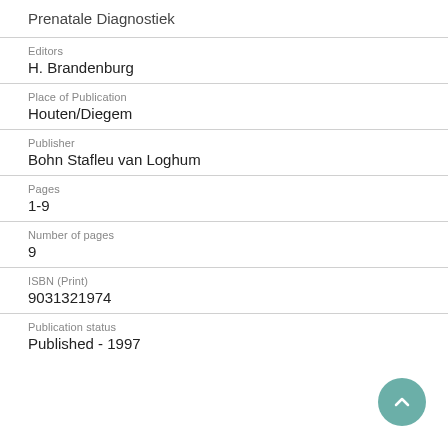Prenatale Diagnostiek
Editors
H. Brandenburg
Place of Publication
Houten/Diegem
Publisher
Bohn Stafleu van Loghum
Pages
1-9
Number of pages
9
ISBN (Print)
9031321974
Publication status
Published - 1997